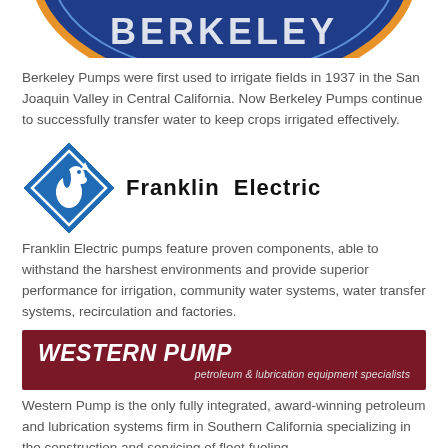[Figure (logo): Berkeley Pumps logo (partially cropped at top of page) — blue ellipse with orange outline and white text]
Berkeley Pumps were first used to irrigate fields in 1937 in the San Joaquin Valley in Central California. Now Berkeley Pumps continue to successfully transfer water to keep crops irrigated effectively.
[Figure (logo): Franklin Electric logo — blue diamond shape with white horse head icon, beside bold black text reading 'Franklin Electric']
Franklin Electric pumps feature proven components, able to withstand the harshest environments and provide superior performance for irrigation, community water systems, water transfer systems, recirculation and factories.
[Figure (logo): Western Pump banner — dark red/maroon background with bold italic white text 'WESTERN PUMP' and smaller text 'petroleum & lubrication equipment specialists']
Western Pump is the only fully integrated, award-winning petroleum and lubrication systems firm in Southern California specializing in the construction and servicing of fleet fueling